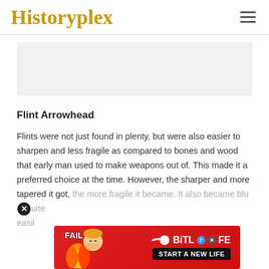Historyplex
Flint Arrowhead
Flints were not just found in plenty, but were also easier to sharpen and less fragile as compared to bones and wood that early man used to make weapons out of. This made it a preferred choice at the time. However, the sharper and more tapered it got, the more fragile it became. It also became blunt quite easily ... alled the B...
[Figure (other): BitLife advertisement banner with FAIL text and cartoon character]